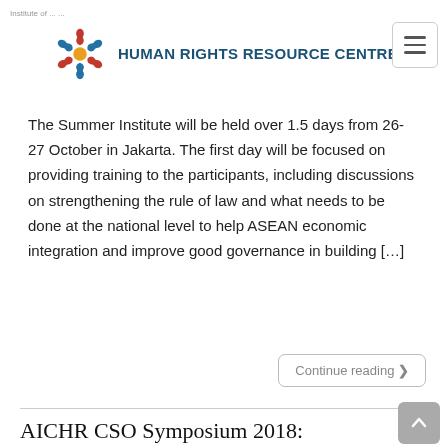Human Rights Resource Centre
The Summer Institute will be held over 1.5 days from 26-27 October in Jakarta. The first day will be focused on providing training to the participants, including discussions on strengthening the rule of law and what needs to be done at the national level to help ASEAN economic integration and improve good governance in building [...]
Continue reading
AICHR CSO Symposium 2018: Enhancing CSO